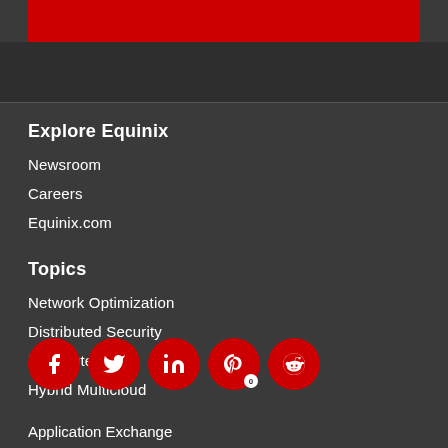[Figure (other): Red banner bar at top of page]
Explore Equinix
Newsroom
Careers
Equinix.com
Topics
Network Optimization
Distributed Security
Distributed Data
Hybrid Multicloud
[Figure (other): Social media share buttons: Facebook, Twitter, LinkedIn, Pinterest, Reddit with badge count 0]
Application Exchange